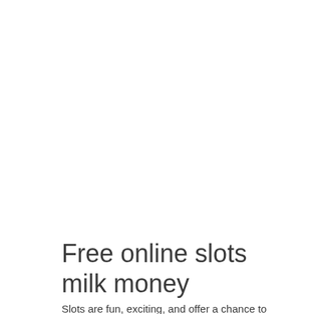Free online slots milk money
Slots are fun, exciting, and offer a chance to